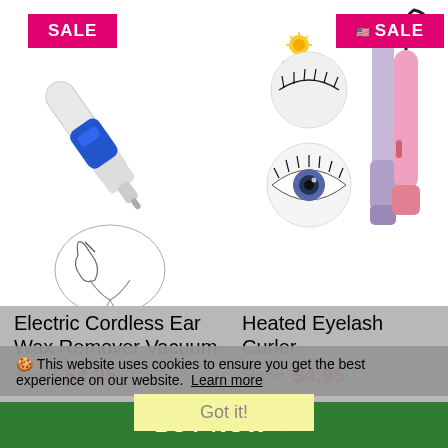[Figure (photo): Electric cordless ear wax remover vacuum device (blue and white pen-shaped) with diagram showing use in ear, with pink SALE badge]
[Figure (photo): Heated eyelash curler tools in purple and pink, with close-up eye images, brand logo, US flag, and pink SALE badge]
Electric Cordless Ear Wax Remover Vacuum
$7.40  $4.95
Heated Eyelash Curler
$5.58  $4.95
🍪 This website uses cookies to ensure you get the best experience on our website.  Learn more
Got it!
BUY NOW →